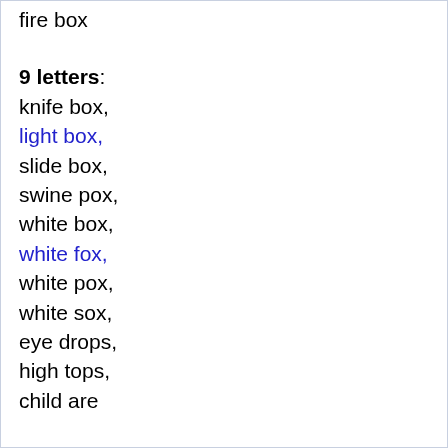fire box
9 letters:
knife box,
light box,
slide box,
swine pox,
white box,
white fox,
white pox,
white sox,
eye drops,
high tops,
child are
10 letters:
write once,
wind harps,
flying fox
11 letters:
style shops,